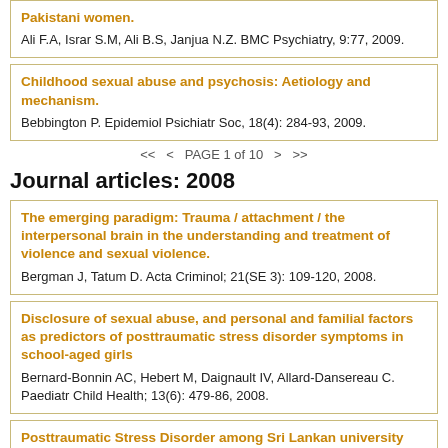Pakistani women.
Ali F.A, Israr S.M, Ali B.S, Janjua N.Z. BMC Psychiatry, 9:77, 2009.
Childhood sexual abuse and psychosis: Aetiology and mechanism.
Bebbington P. Epidemiol Psichiatr Soc, 18(4): 284-93, 2009.
<< < PAGE 1 of 10 > >>
Journal articles: 2008
The emerging paradigm: Trauma / attachment / the interpersonal brain in the understanding and treatment of violence and sexual violence.
Bergman J, Tatum D. Acta Criminol; 21(SE 3): 109-120, 2008.
Disclosure of sexual abuse, and personal and familial factors as predictors of posttraumatic stress disorder symptoms in school-aged girls
Bernard-Bonnin AC, Hebert M, Daignault IV, Allard-Dansereau C. Paediatr Child Health; 13(6): 479-86, 2008.
Posttraumatic Stress Disorder among Sri Lankan university students as a consequence of their exposure to family violence.